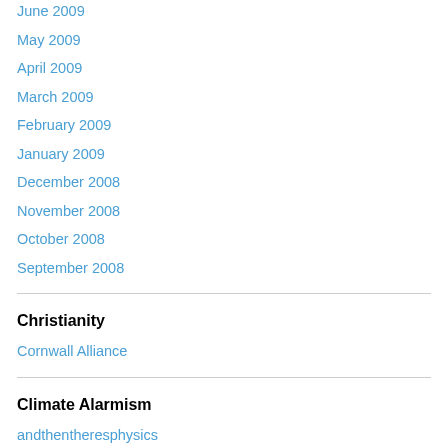June 2009
May 2009
April 2009
March 2009
February 2009
January 2009
December 2008
November 2008
October 2008
September 2008
Christianity
Cornwall Alliance
Climate Alarmism
andthentheresphysics